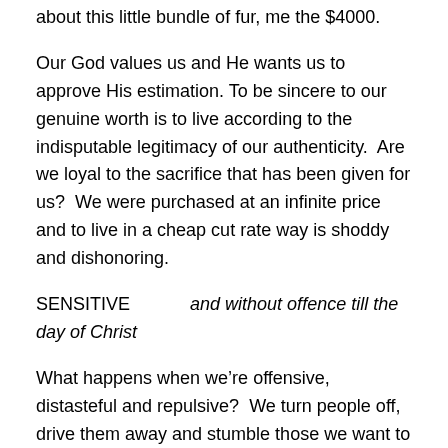about this little bundle of fur, me the $4000.
Our God values us and He wants us to approve His estimation. To be sincere to our genuine worth is to live according to the indisputable legitimacy of our authenticity.  Are we loyal to the sacrifice that has been given for us?  We were purchased at an infinite price and to live in a cheap cut rate way is shoddy and dishonoring.
SENSITIVE     and without offence till the day of Christ
What happens when we’re offensive, distasteful and repulsive?  We turn people off, drive them away and stumble those we want to have a positive influence on.  I’ve been taking medication for pain to keep me from getting painted into a corner with muscle, joint and nerve